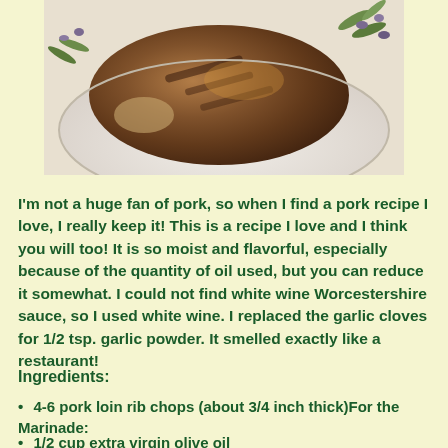[Figure (photo): Photo of grilled/baked pork chops on a decorative plate with olive/leaf pattern border]
I'm not a huge fan of pork, so when I find a pork recipe I love, I really keep it!  This is a recipe I love and I think you will too!  It is so moist and flavorful, especially because of the quantity of oil used, but you can reduce it somewhat.  I could not find white wine Worcestershire sauce, so I used white wine.  I replaced the garlic cloves for 1/2 tsp. garlic powder.  It smelled exactly like a restaurant!
Ingredients:
4-6 pork loin rib chops (about 3/4 inch thick)For the Marinade:
1/2 cup extra virgin olive oil